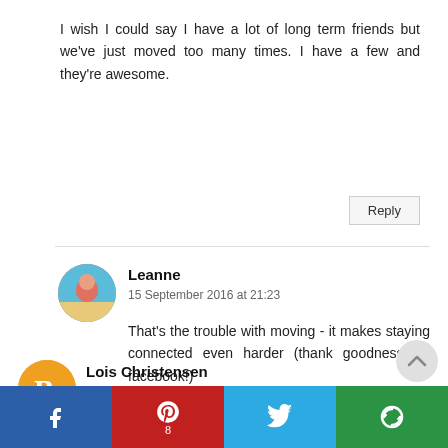I wish I could say I have a lot of long term friends but we've just moved too many times. I have a few and they're awesome.
Reply
Leanne
15 September 2016 at 21:23
That's the trouble with moving - it makes staying connected even harder (thank goodness for facebook!)
Lois Christensen
15 September 2016 at 18:05